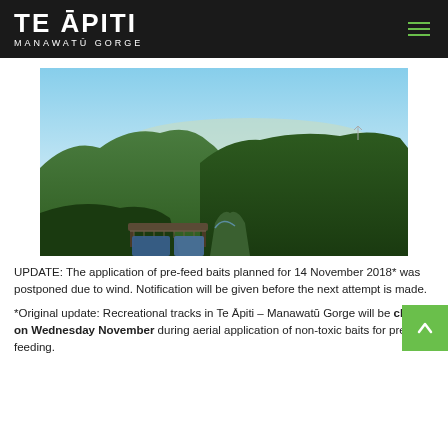TE ĀPITI MANAWATŪ GORGE
[Figure (photo): Aerial/overlook view of Manawatū Gorge showing steep green forested hillsides, a lookout platform with information signs in the foreground, and a wide valley/plains vista in the distance under a clear blue sky.]
UPDATE: The application of pre-feed baits planned for 14 November 2018* was postponed due to wind. Notification will be given before the next attempt is made.
*Original update: Recreational tracks in Te Āpiti – Manawatū Gorge will be closed on Wednesday November during aerial application of non-toxic baits for pre-feeding.